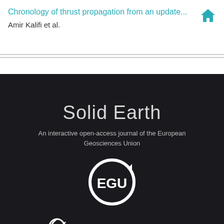Chronology of thrust propagation from an update... Amir Kalifi et al.
[Figure (logo): EGU Solid Earth journal logo with home icon in teal, EGU circular logo, and Copernicus Publications logo on dark background]